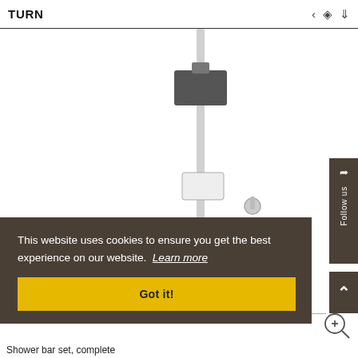TURN
[Figure (photo): Shower bar set product photo showing a chrome/graphite shower rail with handheld showerhead attached, a mounting bracket at top, and a flow control knob, photographed against a white background.]
This website uses cookies to ensure you get the best experience on our website.  Learn more
Got it!
Shower bar set, complete